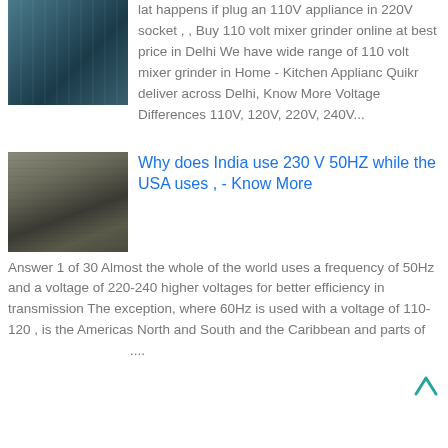[Figure (photo): Top-left cropped photo, appears to be a factory or industrial setting with blue/teal tones]
lat happens if plug an 110V appliance in 220V socket , , Buy 110 volt mixer grinder online at best price in Delhi We have wide range of 110 volt mixer grinder in Home - Kitchen Applianc Quikr deliver across Delhi, Know More Voltage Differences 110V, 120V, 220V, 240V...
[Figure (photo): Factory/industrial hall interior with machinery, dark tones, workers visible]
Why does India use 230 V 50HZ while the USA uses , - Know More
Answer 1 of 30 Almost the whole of the world uses a frequency of 50Hz and a voltage of 220-240 higher voltages for better efficiency in transmission The exception, where 60Hz is used with a voltage of 110-120 , is the Americas North and South and the Caribbean and parts of
....